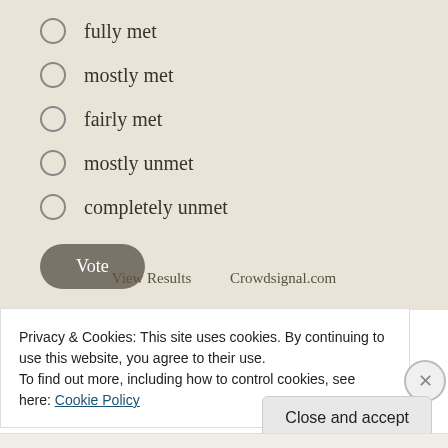fully met
mostly met
fairly met
mostly unmet
completely unmet
Vote
View Results    Crowdsignal.com
Privacy & Cookies: This site uses cookies. By continuing to use this website, you agree to their use.
To find out more, including how to control cookies, see here: Cookie Policy
Close and accept